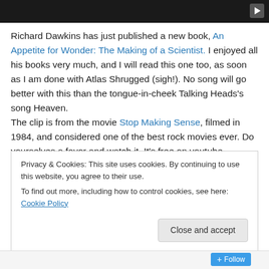[Figure (screenshot): Dark video player bar with play button icon in top right]
Richard Dawkins has just published a new book, An Appetite for Wonder: The Making of a Scientist. I enjoyed all his books very much, and I will read this one too, as soon as I am done with Atlas Shrugged (sigh!). No song will go better with this than the tongue-in-cheek Talking Heads's song Heaven.
The clip is from the movie Stop Making Sense, filmed in 1984, and considered one of the best rock movies ever. Do yourselves a favor and watch it. It's free on youtube.
Privacy & Cookies: This site uses cookies. By continuing to use this website, you agree to their use.
To find out more, including how to control cookies, see here: Cookie Policy